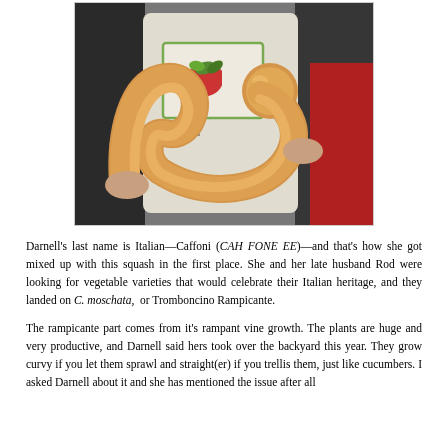[Figure (photo): A person holding a large curved golden/tan squash (Tromboncino Rampicante) shaped like a horseshoe or trombone. The person is wearing a white t-shirt with a garden-themed logo and a dark jacket. Another person in a red jacket is visible behind them.]
Darnell's last name is Italian—Caffoni (CAH FONE EE)—and that's how she got mixed up with this squash in the first place. She and her late husband Rod were looking for vegetable varieties that would celebrate their Italian heritage, and they landed on C. moschata, or Tromboncino Rampicante.
The rampicante part comes from it's rampant vine growth. The plants are huge and very productive, and Darnell said hers took over the backyard this year. They grow curvy if you let them sprawl and straight(er) if you trellis them, just like cucumbers. I asked Darnell about it and she has mentioned the issue after all...